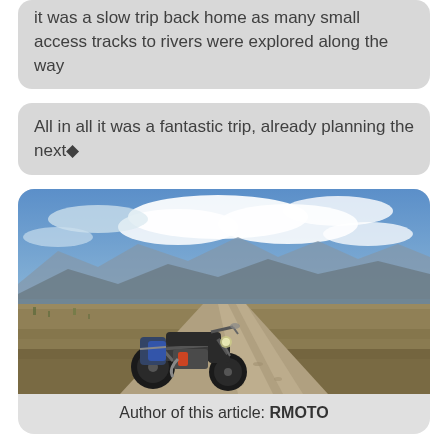it was a slow trip back home as many small access tracks to rivers were explored along the way
All in all it was a fantastic trip, already planning the next🔷
[Figure (photo): A loaded adventure motorcycle (dual-sport/dirt bike) parked on a gravel dirt track stretching into the distance, with a wide open valley, brown grasslands, mountains, and dramatic cloudy sky in the background.]
Author of this article: RMOTO